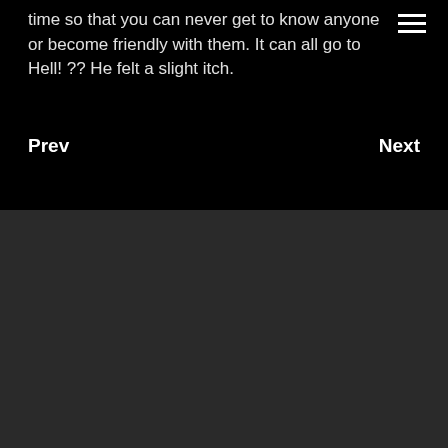time so that you can never get to know anyone or become friendly with them. It can all go to Hell! ?? He felt a slight itch.
Prev
Next
Comments
There are no comments yet.
Leave a comment
Your Comment *